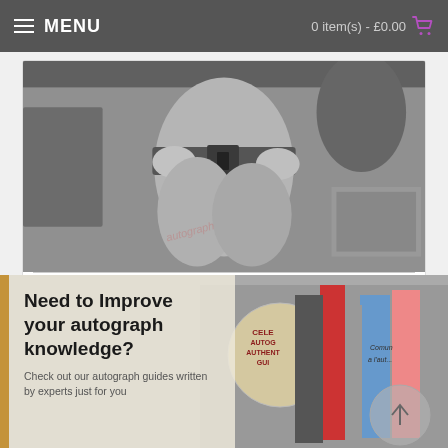MENU   0 item(s) - £0.00
[Figure (photo): Black and white photograph showing torso of a person in military/utility style clothing with a belt buckle, hands gripping the belt]
Alec Guinness Bridge Kwai signed genuine signature auto...
£159.95  £139.95
[Figure (photo): Banner advertisement showing autograph guide books. Text: Need to Improve your autograph knowledge? Check out our autograph guides written by experts just for you]